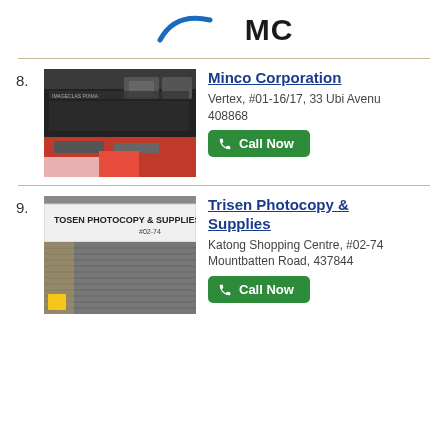[Figure (logo): Logo with blue swoosh and bold text 'MC']
8. Minco Corporation
Vertex, #01-16/17, 33 Ubi Avenue 408868
[Figure (photo): Interior of Minco Corporation store showing printers and office equipment]
Call Now
9. Trisen Photocopy & Supplies
Katong Shopping Centre, #02-74 Mountbatten Road, 437844
[Figure (photo): Exterior storefront of Trisen Photocopy & Supplies with signage]
Call Now